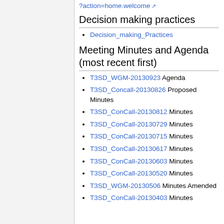?action=home.welcome [external link]
Decision making practices
Decision_making_Practices
Meeting Minutes and Agenda (most recent first)
T3SD_WGM-20130923 Agenda
T3SD_Concall-20130826 Proposed Minutes
T3SD_ConCall-20130812 Minutes
T3SD_ConCall-20130729 Minutes
T3SD_ConCall-20130715 Minutes
T3SD_ConCall-20130617 Minutes
T3SD_ConCall-20130603 Minutes
T3SD_ConCall-20130520 Minutes
T3SD_WGM-20130506 Minutes Amended
T3SD_ConCall-20130403 Minutes